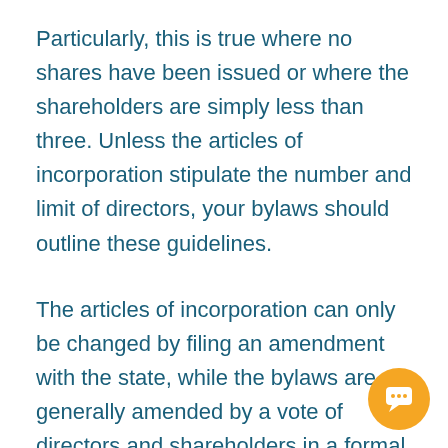Particularly, this is true where no shares have been issued or where the shareholders are simply less than three. Unless the articles of incorporation stipulate the number and limit of directors, your bylaws should outline these guidelines.
The articles of incorporation can only be changed by filing an amendment with the state, while the bylaws are generally amended by a vote of directors and shareholders in a formal meeting. Times methods of meetings, as well as such things